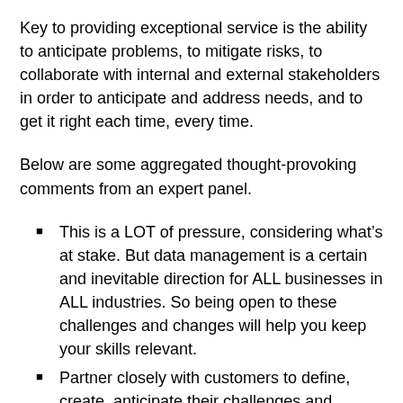Key to providing exceptional service is the ability to anticipate problems, to mitigate risks, to collaborate with internal and external stakeholders in order to anticipate and address needs, and to get it right each time, every time.
Below are some aggregated thought-provoking comments from an expert panel.
This is a LOT of pressure, considering what’s at stake. But data management is a certain and inevitable direction for ALL businesses in ALL industries. So being open to these challenges and changes will help you keep your skills relevant.
Partner closely with customers to define, create, anticipate their challenges and needs, and serve their needs efficiently, leveraging real-time data.